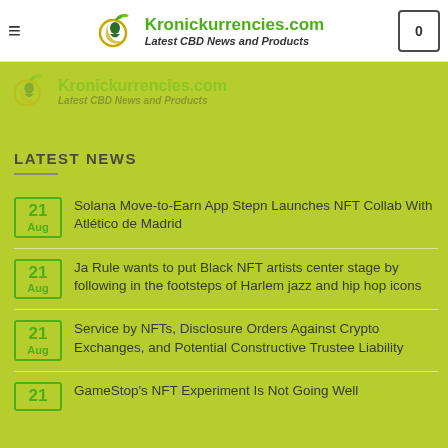Kronickurrencies.com — Latest CBD News and Products
LATEST NEWS
21 Aug — Solana Move-to-Earn App Stepn Launches NFT Collab With Atlético de Madrid
21 Aug — Ja Rule wants to put Black NFT artists center stage by following in the footsteps of Harlem jazz and hip hop icons
21 Aug — Service by NFTs, Disclosure Orders Against Crypto Exchanges, and Potential Constructive Trustee Liability
21 — GameStop's NFT Experiment Is Not Going Well